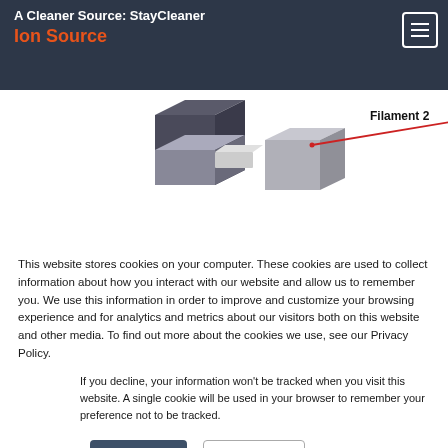A Cleaner Source: StayCleaner Ion Source
[Figure (engineering-diagram): 3D diagram of an ion source assembly showing Filament 2 labeled with a red arrow pointing to a component of the device.]
This website stores cookies on your computer. These cookies are used to collect information about how you interact with our website and allow us to remember you. We use this information in order to improve and customize your browsing experience and for analytics and metrics about our visitors both on this website and other media. To find out more about the cookies we use, see our Privacy Policy.
If you decline, your information won't be tracked when you visit this website. A single cookie will be used in your browser to remember your preference not to be tracked.